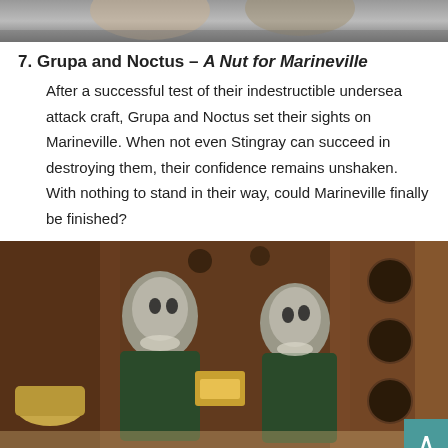[Figure (photo): Top portion of a photo showing puppet/model characters from the TV show Stingray, partially cropped at the top of the page.]
7. Grupa and Noctus – A Nut for Marineville
After a successful test of their indestructible undersea attack craft, Grupa and Noctus set their sights on Marineville. When not even Stingray can succeed in destroying them, their confidence remains unshaken. With nothing to stand in their way, could Marineville finally be finished?
[Figure (photo): A photo from the TV show Stingray showing two puppet characters (Grupa and Noctus) in green outfits with silvery alien-like faces, one holding a device, set against a dark brown paneled background with circular port holes.]